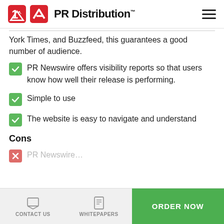PR Distribution™
York Times, and Buzzfeed, this guarantees a good number of audience.
PR Newswire offers visibility reports so that users know how well their release is performing.
Simple to use
The website is easy to navigate and understand
Cons
CONTACT US   WHITEPAPERS   ORDER NOW